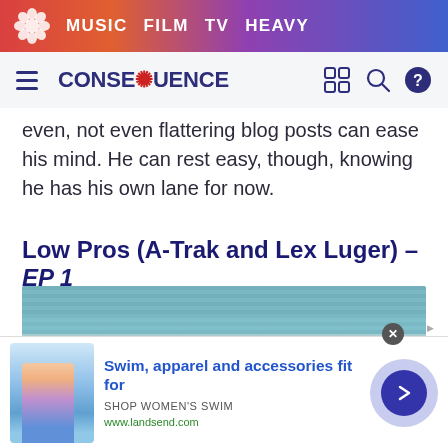MUSIC  FILM  TV  HEAVY
CONSEQUENCE
even, not even flattering blog posts can ease his mind. He can rest easy, though, knowing he has his own lane for now.
Low Pros (A-Trak and Lex Luger) – EP 1
[Figure (photo): Album cover image for Low Pros EP 1, showing a stylized outdoor scene with teal/grey tones and a red box with an X button overlay]
[Figure (other): Advertisement banner: Swim, apparel and accessories fit for — SHOP WOMEN'S SWIM — www.landsend.com, with image of woman in swimsuit and blue CTA button]